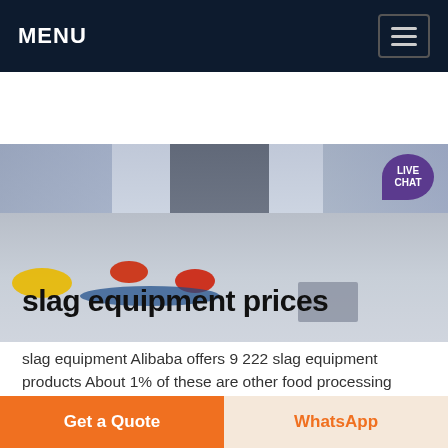MENU
[Figure (photo): Industrial factory floor with heavy machinery, colorful ring structures on floor, steel framework and staircases, with a live chat bubble in the top right corner]
slag equipment prices
slag equipment Alibaba offers 9 222 slag equipment products About 1% of these are other food processing machinery 1% are other metal metallurgy machinery A wide variety of slag equipment options are available to you
Get a Quote
WhatsApp